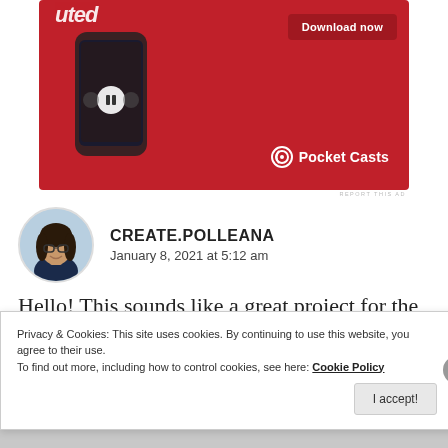[Figure (photo): Pocket Casts advertisement banner on red background showing a smartphone with podcast app interface and 'Download now' button]
REPORT THIS AD
[Figure (photo): Circular avatar photo of a young woman with dark curly hair wearing glasses and a dark top]
CREATE.POLLEANA
January 8, 2021 at 5:12 am
Hello! This sounds like a great project for the students. Can I please have a copy? Thank you so
Privacy & Cookies: This site uses cookies. By continuing to use this website, you agree to their use.
To find out more, including how to control cookies, see here: Cookie Policy
I accept!